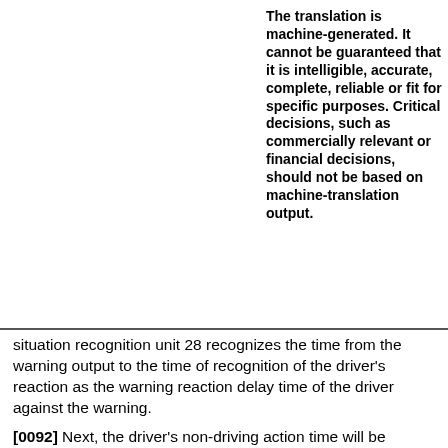The translation is machine-generated. It cannot be guaranteed that it is intelligible, accurate, complete, reliable or fit for specific purposes. Critical decisions, such as commercially relevant or financial decisions, should not be based on machine-translation output.
Translate this text into
[Figure (logo): patenttranslate logo badge — red background with white arrows icon and text 'patenttranslate', subtitle 'powered by EPO and Google']
situation recognition unit 28 recognizes the time from the warning output to the time of recognition of the driver's reaction as the warning reaction delay time of the driver against the warning.
[0092] Next, the driver's non-driving action time will be